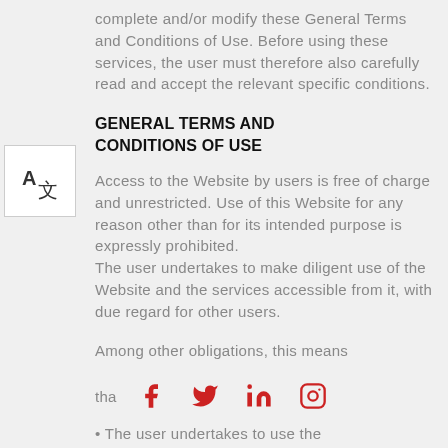complete and/or modify these General Terms and Conditions of Use. Before using these services, the user must therefore also carefully read and accept the relevant specific conditions.
[Figure (other): Translation icon showing stylized A and Chinese character, indicating language translation feature]
GENERAL TERMS AND CONDITIONS OF USE
Access to the Website by users is free of charge and unrestricted. Use of this Website for any reason other than for its intended purpose is expressly prohibited.
The user undertakes to make diligent use of the Website and the services accessible from it, with due regard for other users.
Among other obligations, this means tha
[Figure (other): Social media icons: Facebook, Twitter, LinkedIn, Instagram in red]
The user undertakes to use the